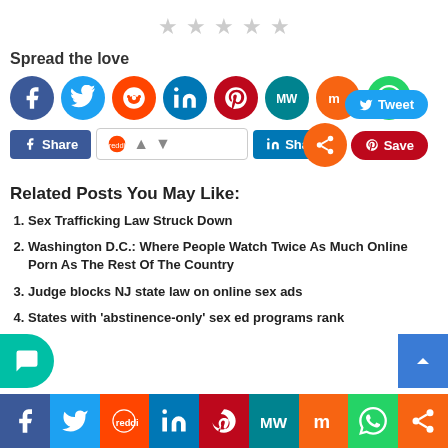[Figure (other): Five grey star rating icons in a row]
Spread the love
[Figure (infographic): Row of social media sharing icon circles: Facebook, Twitter, Reddit, LinkedIn, Pinterest, MeWe, Mix, WhatsApp]
[Figure (infographic): Share buttons bar: Facebook Share, Reddit bar with arrows, LinkedIn Share, Tweet button, Pinterest Save button, and orange share circle]
Related Posts You May Like:
Sex Trafficking Law Struck Down
Washington D.C.: Where People Watch Twice As Much Online Porn As The Rest Of The Country
Judge blocks NJ state law on online sex ads
States with 'abstinence-only' sex ed programs rank
[Figure (infographic): Bottom sticky social sharing bar with icons for Facebook, Twitter, Reddit, LinkedIn, Pinterest, MeWe, Mix, WhatsApp, Share]